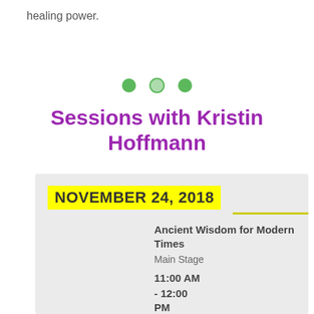healing power.
[Figure (other): Three green dots separator]
Sessions with Kristin Hoffmann
NOVEMBER 24, 2018
Ancient Wisdom for Modern Times
Main Stage
11:00 AM
- 12:00
PM